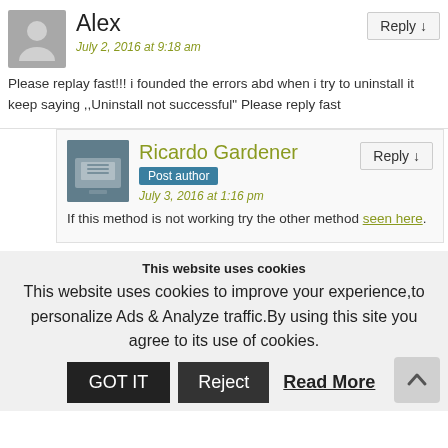Alex
July 2, 2016 at 9:18 am
Please replay fast!!! i founded the errors abd when i try to uninstall it keep saying ,,Uninstall not successful" Please reply fast
Ricardo Gardener
Post author
July 3, 2016 at 1:16 pm
If this method is not working try the other method seen here.
This website uses cookies
This website uses cookies to improve your experience,to personalize Ads & Analyze traffic.By using this site you agree to its use of cookies.
GOT IT  Reject  Read More